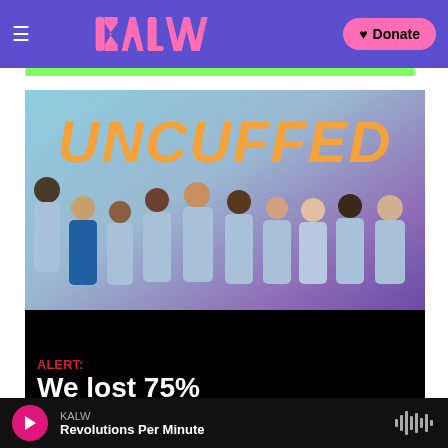KALW header with logo and Donate button
[Figure (photo): UNCUFFED show promotional image with group of people in blue prison uniforms against teal-to-purple gradient background with orange UNCUFFED logo text]
ALERT: We lost 75% of our funding.
KALW — Revolutions Per Minute